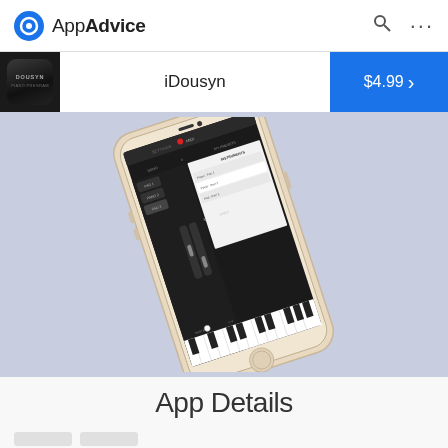AppAdvice
iDousyn
$4.99
[Figure (screenshot): iPhone showing iDousyn synthesizer app with piano keyboard and instrument selection interface, displayed at an angle on a lavender/blue-grey background]
App Details